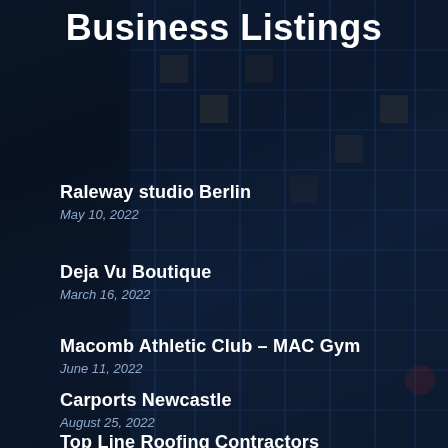Business Listings
Raleway studio Berlin
May 10, 2022
Deja Vu Boutique
March 16, 2022
Macomb Athletic Club – MAC Gym
June 11, 2022
Carports Newcastle
August 25, 2022
Top Line Roofing Contractors